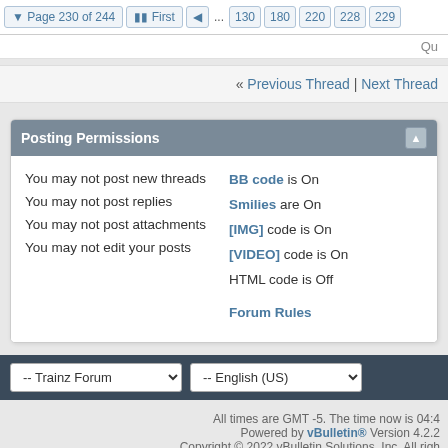Page 230 of 244  First  ... 130 180 220 228 229
Qu
« Previous Thread | Next Thread »
Posting Permissions
You may not post new threads
You may not post replies
You may not post attachments
You may not edit your posts
BB code is On
Smilies are On
[IMG] code is On
[VIDEO] code is On
HTML code is Off

Forum Rules
All times are GMT -5. The time now is 04:4
Powered by vBulletin® Version 4.2.2
Copyright © 2022 vBulletin Solutions, Inc. All righ